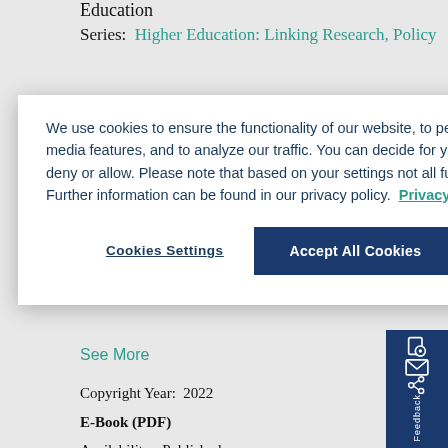Education
Series:  Higher Education: Linking Research, Policy
We use cookies to ensure the functionality of our website, to personalize content, to provide social media features, and to analyze our traffic. You can decide for yourself which categories you want to deny or allow. Please note that based on your settings not all functionalities of the site are available. Further information can be found in our privacy policy.  Privacy Statement
Cookies Settings
Accept All Cookies
See More
Copyright Year:  2022
E-Book (PDF)
Availability:  Published
Publication date:  08 Jun 2022
Copyright Date:  01 Jan 2022
ISBN:  978-90-04-52091-2